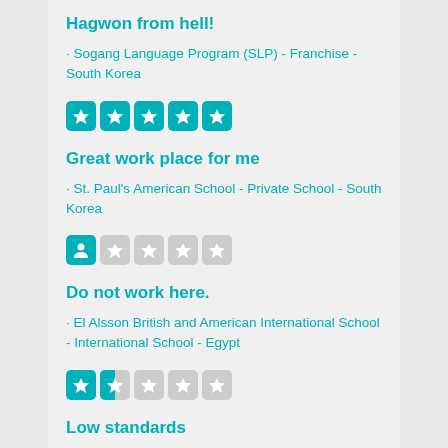Hagwon from hell!
· Sogang Language Program (SLP) - Franchise - South Korea
[Figure (other): 5 filled star rating boxes in teal/cyan color]
Great work place for me
· St. Paul's American School - Private School - South Korea
[Figure (other): 1 filled star rating box in teal/cyan, 4 empty gray star rating boxes]
Do not work here.
· El Alsson British and American International School - International School - Egypt
[Figure (other): 1 full filled star, 1 half filled star in teal/cyan, 3 empty gray star rating boxes]
Low standards